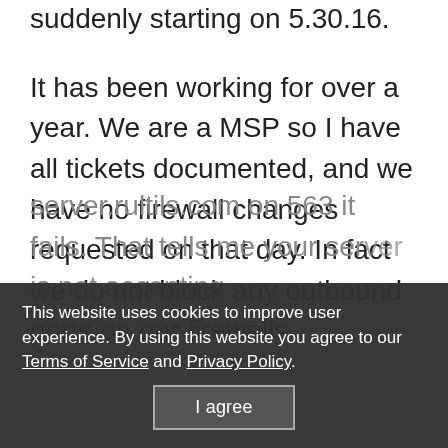They are complaining it is not connecting suddenly starting on 5.30.16.
It has been working for over a year.  We are a MSP so I have all tickets documented, and we have no firewall changes requested on that day.  In fact we do not block any outbound ports on our firewalls.
...may connect you to our server.rultils.com on 563 it fails.  That tells me your server is not accepting
This website uses cookies to improve user experience. By using this website you agree to our Terms of Service and Privacy Policy.
I agree